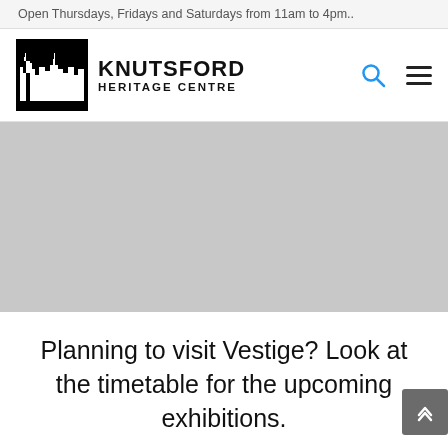Open Thursdays, Fridays and Saturdays from 11am to 4pm..
[Figure (logo): Knutsford Heritage Centre logo with city skyline silhouette icon and text KNUTSFORD HERITAGE CENTRE]
[Figure (photo): Large grey placeholder hero image area]
Planning to visit Vestige? Look at the timetable for the upcoming exhibitions.